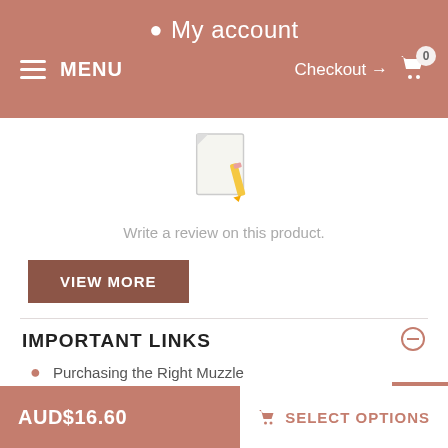My account  MENU  Checkout → 0
[Figure (illustration): Document/paper with a pencil icon, representing writing a review]
Write a review on this product.
VIEW MORE
IMPORTANT LINKS
Purchasing the Right Muzzle
PRICE BREAKDOWN
AUD$16.60  SELECT OPTIONS